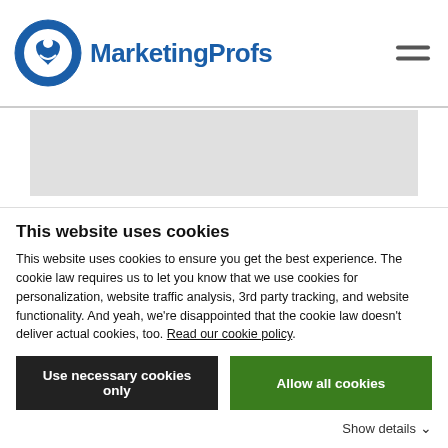MarketingProfs
[Figure (other): Gray advertisement banner placeholder]
ABOUT THE AUTHOR
Shawn Aguilar is digital marketing
This website uses cookies
This website uses cookies to ensure you get the best experience. The cookie law requires us to let you know that we use cookies for personalization, website traffic analysis, 3rd party tracking, and website functionality. And yeah, we're disappointed that the cookie law doesn't deliver actual cookies, too. Read our cookie policy.
Use necessary cookies only | Allow all cookies
Show details